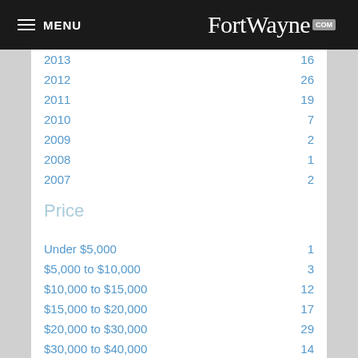MENU | FortWayne.com
| Year/Category | Count |
| --- | --- |
| 2013 | 16 |
| 2012 | 26 |
| 2011 | 19 |
| 2010 | 7 |
| 2009 | 2 |
| 2008 | 1 |
| 2007 | 2 |
| Price |  |
| Under $5,000 | 1 |
| $5,000 to $10,000 | 3 |
| $10,000 to $15,000 | 12 |
| $15,000 to $20,000 | 17 |
| $20,000 to $30,000 | 29 |
| $30,000 to $40,000 | 14 |
| $40,000 to $50,000 | 2 |
| Over $50,000 | 1 |